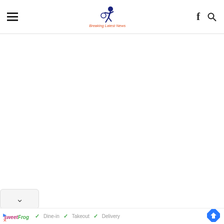Breaking Latest News
[Figure (logo): Breaking Latest News logo with running figure icon and orange italic text]
✓ Dine-in  ✓ Takeout  ✓ Delivery
[Figure (logo): sweetFrog logo in pink and green italic text]
[Figure (other): Blue diamond navigation/directions icon]